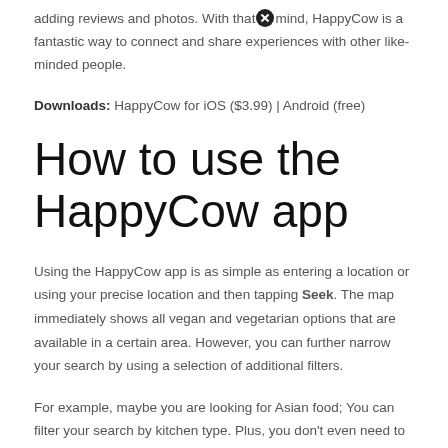adding reviews and photos. With that in mind, HappyCow is a fantastic way to connect and share experiences with other like-minded people.
Downloads: HappyCow for iOS ($3.99) | Android (free)
How to use the HappyCow app
Using the HappyCow app is as simple as entering a location or using your precise location and then tapping Seek. The map immediately shows all vegan and vegetarian options that are available in a certain area. However, you can further narrow your search by using a selection of additional filters.
For example, maybe you are looking for Asian food; You can filter your search by kitchen type. Plus, you don't even need to create an account or sign up to use the app. Did you know that you can also use HappyCow in your web browser? The website is as easy to use as the app and has pretty much the